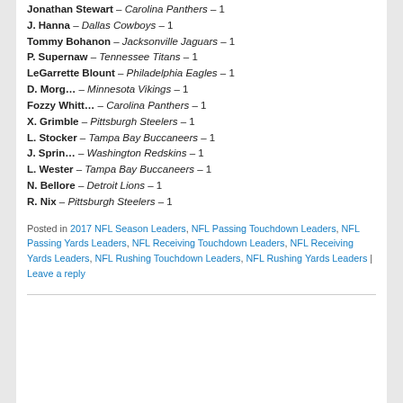Jonathan Stewart – Carolina Panthers – 1
J. Hanna – Dallas Cowboys – 1
Tommy Bohanon – Jacksonville Jaguars – 1
P. Supernaw – Tennessee Titans – 1
LeGarrette Blount – Philadelphia Eagles – 1
D. Morg… – Minnesota Vikings – 1
Fozzy Whitt… – Carolina Panthers – 1
X. Grimble – Pittsburgh Steelers – 1
L. Stocker – Tampa Bay Buccaneers – 1
J. Sprin… – Washington Redskins – 1
L. Wester – Tampa Bay Buccaneers – 1
N. Bellore – Detroit Lions – 1
R. Nix – Pittsburgh Steelers – 1
Posted in 2017 NFL Season Leaders, NFL Passing Touchdown Leaders, NFL Passing Yards Leaders, NFL Receiving Touchdown Leaders, NFL Receiving Yards Leaders, NFL Rushing Touchdown Leaders, NFL Rushing Yards Leaders | Leave a reply